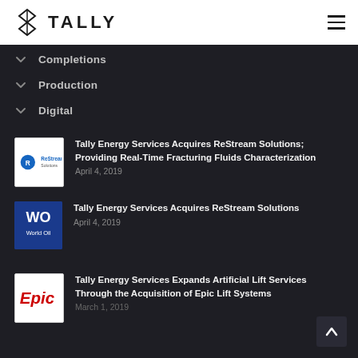TALLY
Completions
Production
Digital
Tally Energy Services Acquires ReStream Solutions; Providing Real-Time Fracturing Fluids Characterization
April 4, 2019
Tally Energy Services Acquires ReStream Solutions
April 4, 2019
Tally Energy Services Expands Artificial Lift Services Through the Acquisition of Epic Lift Systems
March 1, 2019